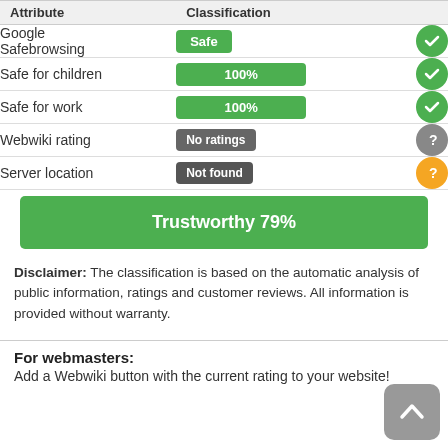| Attribute | Classification |
| --- | --- |
| Google Safebrowsing | Safe | ✓ |
| Safe for children | 100% | ✓ |
| Safe for work | 100% | ✓ |
| Webwiki rating | No ratings | ? |
| Server location | Not found | ? |
Trustworthy 79%
Disclaimer: The classification is based on the automatic analysis of public information, ratings and customer reviews. All information is provided without warranty.
For webmasters:
Add a Webwiki button with the current rating to your website!